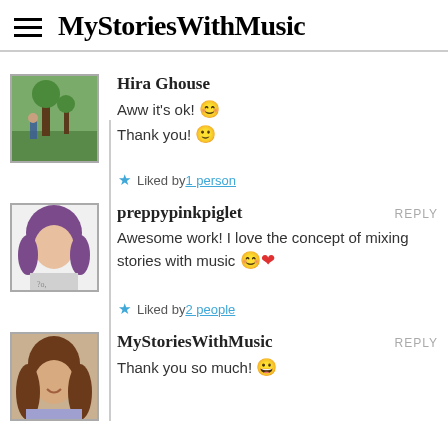MyStoriesWithMusic
Hira Ghouse
Aww it's ok! 😊
Thank you! 🙂
Liked by 1 person
preppypinkpiglet REPLY
Awesome work! I love the concept of mixing stories with music 😊❤
Liked by 2 people
MyStoriesWithMusic REPLY
Thank you so much! 😀